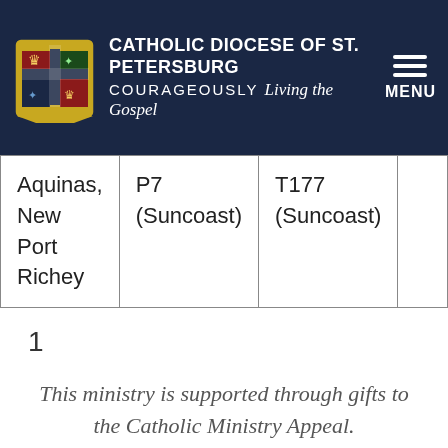CATHOLIC DIOCESE OF ST. PETERSBURG COURAGEOUSLY Living the Gospel MENU
| Aquinas, New Port Richey | P7 (Suncoast) | T177 (Suncoast) |  |
1
This ministry is supported through gifts to the Catholic Ministry Appeal.
[Figure (photo): Dark background with silhouettes of people's heads at the bottom of the page]